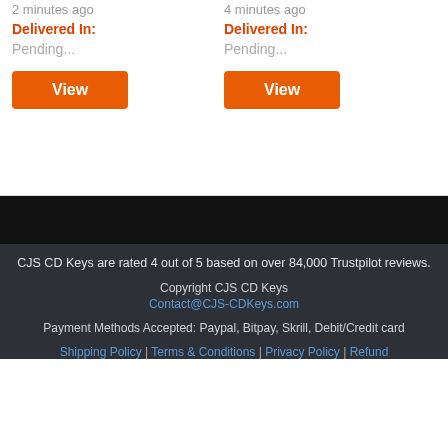2 minutes ago
Delivered In:
Pending...
View
4 minutes ago
Delivered In:
Pending...
View
CJS CD Keys are rated 4 out of 5 based on over 84,000 Trustpilot reviews.
Copyright CJS CD Keys
Contact@CJS-CDKeys.com
Payment Methods Accepted: Paypal, Bitpay, Skrill, Debit/Credit card
Shipping Policy | Terms & Conditions | Privacy Policy | Refund